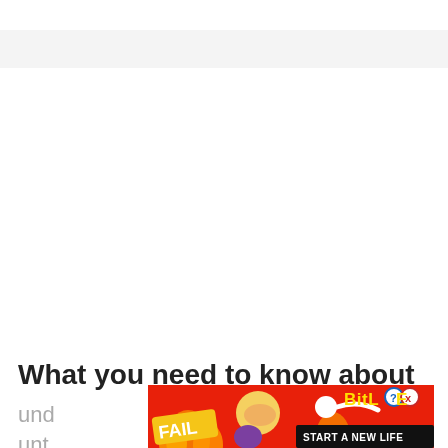What you need to know about
und
unt
[Figure (illustration): Animated advertisement banner with red/orange fire background, cartoon blonde woman facepalming, 'FAIL' text on banner flag, sperm cell icon, 'BitLife' logo with question mark and X icon, 'START A NEW LIFE' button text on black bar]